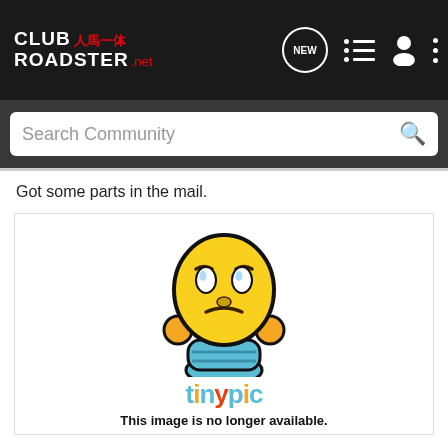[Figure (screenshot): ClubRoadster.net website navigation bar with logo, NEW chat bubble icon, list icon, person icon, and three-dot menu icon on dark background]
[Figure (screenshot): Search Community search bar on dark gray background with magnifying glass icon]
Got some parts in the mail.
[Figure (illustration): Tinypic placeholder image showing a worried yellow emoji face with orange hands on its head, blue body, and the tinypic logo text below. Text reads: This image is no longer available.]